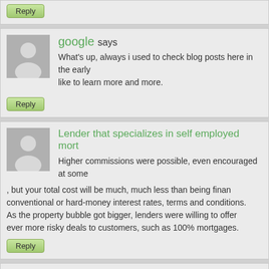Reply
google says
What's up, always i used to check blog posts here in the early like to learn more and more.
Reply
Lender that specializes in self employed mort
Higher commissions were possible, even encouraged at some , but your total cost will be much, much less than being finan conventional or hard-money interest rates, terms and conditions. As the property bubble got bigger, lenders were willing to offer ever more risky deals to customers, such as 100% mortgages.
Reply
https://Montessorigadingpermataschool.com
An effective way to make sure that your synthesis connection